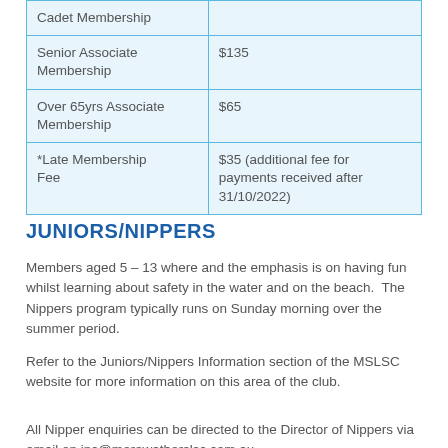| Membership Type | Fee |
| --- | --- |
| Cadet Membership |  |
| Senior Associate Membership | $135 |
| Over 65yrs Associate Membership | $65 |
| *Late Membership Fee | $35 (additional fee for payments received after 31/10/2022) |
JUNIORS/NIPPERS
Members aged 5 – 13 where and the emphasis is on having fun whilst learning about safety in the water and on the beach.  The Nippers program typically runs on Sunday morning over the summer period.
Refer to the Juniors/Nippers Information section of the MSLSC website for more information on this area of the club.
All Nipper enquiries can be directed to the Director of Nippers via email on inc@merewatherslsc.com.au